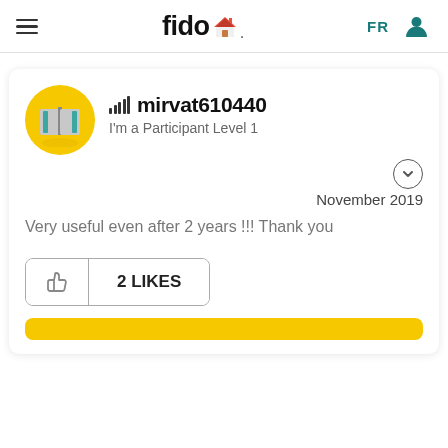fido (logo) | FR | user icon
[Figure (screenshot): Fido community forum post by user mirvat610440, Participant Level 1, posted November 2019. Post reads: 'Very useful even after 2 years !!! Thank you'. The post has 2 Likes.]